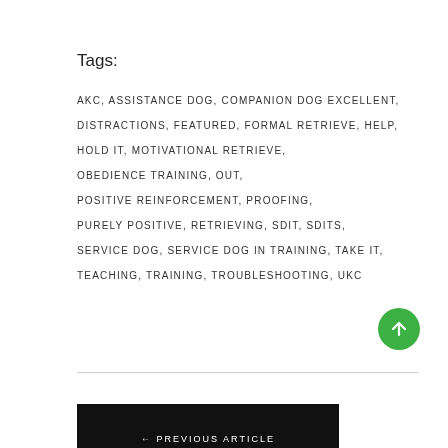Tags:
AKC, ASSISTANCE DOG, COMPANION DOG EXCELLENT, DISTRACTIONS, FEATURED, FORMAL RETRIEVE, HELP, HOLD IT, MOTIVATIONAL RETRIEVE, OBEDIENCE TRAINING, OUT, POSITIVE REINFORCEMENT, PROOFING, PURELY POSITIVE, RETRIEVING, SDIT, SDITS, SERVICE DOG, SERVICE DOG IN TRAINING, TAKE IT, TEACHING, TRAINING, TROUBLESHOOTING, UKC
← PREVIOUS ARTICLE